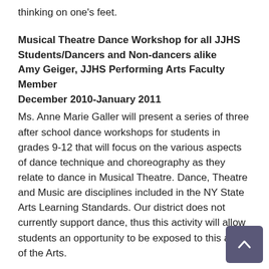thinking on one's feet.
Musical Theatre Dance Workshop for all JJHS Students/Dancers and Non-dancers alike
Amy Geiger, JJHS Performing Arts Faculty Member
December 2010-January 2011
Ms. Anne Marie Galler will present a series of three after school dance workshops for students in grades 9-12 that will focus on the various aspects of dance technique and choreography as they relate to dance in Musical Theatre. Dance, Theatre and Music are disciplines included in the NY State Arts Learning Standards. Our district does not currently support dance, thus this activity will allow students an opportunity to be exposed to this area of the Arts.
Henry Fair, Photographer – “Industrial Scars”
Dr. Linda Burke, JJHS AP Environmental Science Fa
December 15, 2010
This program is for 42 APES students from 3 sections of